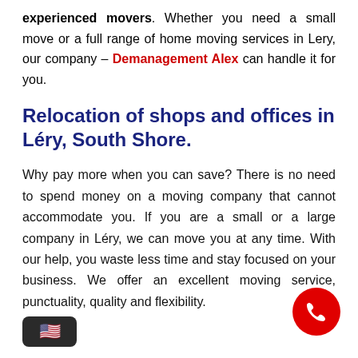experienced movers. Whether you need a small move or a full range of home moving services in Lery, our company – Demanagement Alex can handle it for you.
Relocation of shops and offices in Léry, South Shore.
Why pay more when you can save? There is no need to spend money on a moving company that cannot accommodate you. If you are a small or a large company in Léry, we can move you at any time. With our help, you waste less time and stay focused on your business. We offer an excellent moving service, punctuality, quality and flexibility.